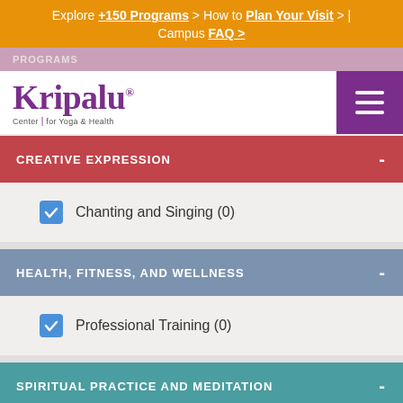Explore +150 Programs > How to Plan Your Visit > | Campus FAQ >
[Figure (logo): Kripalu Center for Yoga & Health logo with purple text]
CREATIVE EXPRESSION -
Chanting and Singing (0)
HEALTH, FITNESS, AND WELLNESS -
Professional Training (0)
SPIRITUAL PRACTICE AND MEDITATION -